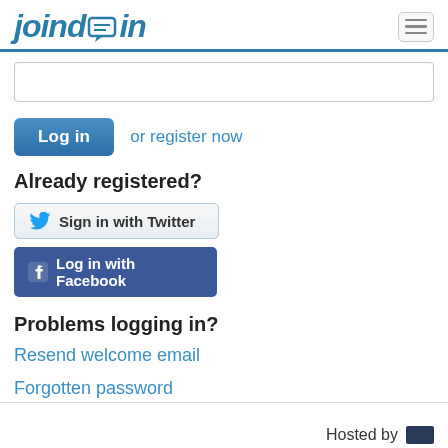joind.in
[Figure (screenshot): Search input field (empty text box)]
Log in  or register now
Already registered?
[Figure (screenshot): Sign in with Twitter button]
[Figure (screenshot): Log in with Facebook button]
Problems logging in?
Resend welcome email
Forgotten password
Forgotten username
Hosted by